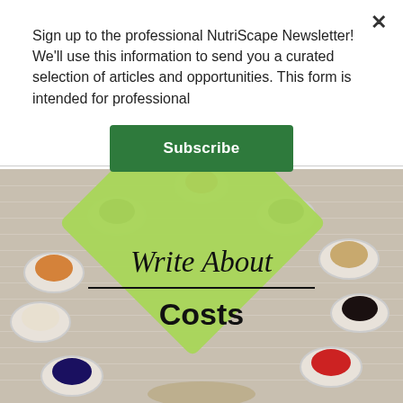Sign up to the professional NutriScape Newsletter! We'll use this information to send you a curated selection of articles and opportunities. This form is intended for professional
[Figure (illustration): Subscribe button — dark green rounded rectangle with white bold text 'Subscribe']
[Figure (photo): Photo of various spices and seeds in white bowls arranged in a fan pattern on a wood surface, with a large light-green diamond shape overlaid in the center containing italic script text 'Write About' above a horizontal line and bold text 'Costs' below]